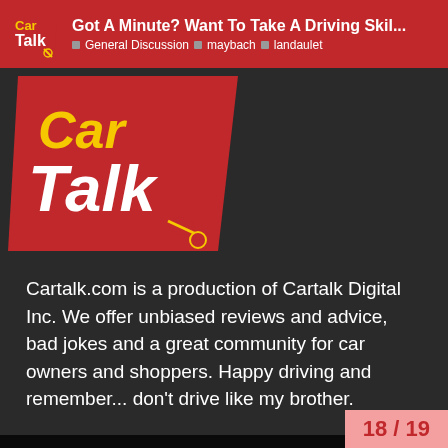Got A Minute? Want To Take A Driving Skil... | General Discussion | maybach | landaulet
[Figure (logo): Car Talk logo — red diagonal background with 'Car Talk' in yellow and white bold text with a wrench icon]
Cartalk.com is a production of Cartalk Digital Inc. We offer unbiased reviews and advice, bad jokes and a great community for car owners and shoppers. Happy driving and remember... don't drive like my brother.
Contact Us   Write for Us   Rating Methodology   Privacy Policy   Site Map   © 2021 Cartalk Digital Inc.